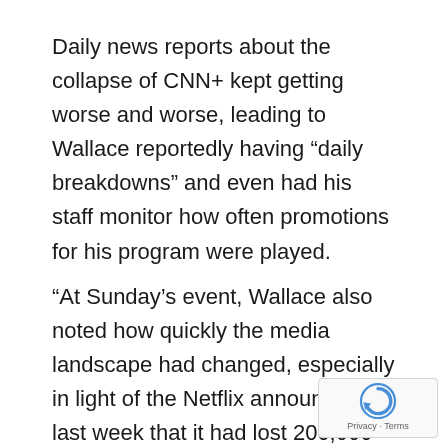Daily news reports about the collapse of CNN+ kept getting worse and worse, leading to Wallace reportedly having “daily breakdowns” and even had his staff monitor how often promotions for his program were played.
“At Sunday’s event, Wallace also noted how quickly the media landscape had changed, especially in light of the Netflix announcement last week that it had lost 200,000 subscribers in the first quarter of the year, leading its stock to plummet by 35 percent, as CNBC reported, report stated.
[Figure (logo): reCAPTCHA badge with Privacy and Terms links]